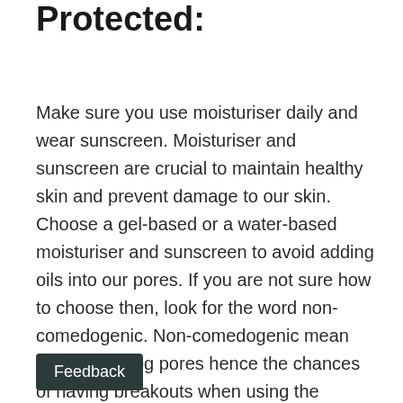Protected:
Make sure you use moisturiser daily and wear sunscreen. Moisturiser and sunscreen are crucial to maintain healthy skin and prevent damage to our skin. Choose a gel-based or a water-based moisturiser and sunscreen to avoid adding oils into our pores. If you are not sure how to choose then, look for the word non-comedogenic. Non-comedogenic mean unlikely to clog pores hence the chances of having breakouts when using the product is low.
ol: